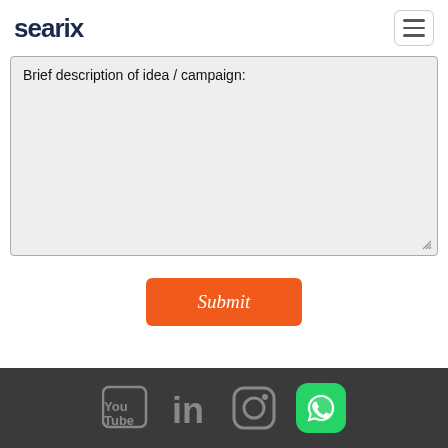searix
Brief description of idea / campaign:
[Figure (screenshot): Orange Submit button with italic white text]
Social media icons: YouTube, LinkedIn, Instagram, WhatsApp